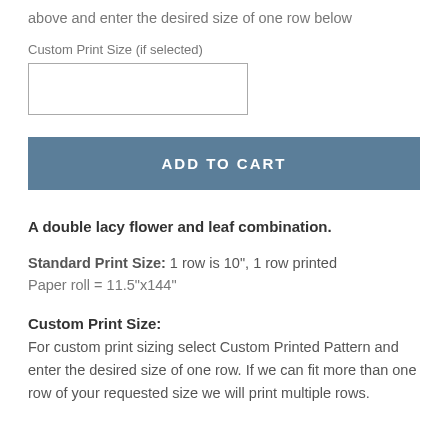above and enter the desired size of one row below
Custom Print Size (if selected)
ADD TO CART
A double lacy flower and leaf combination.
Standard Print Size: 1 row is 10", 1 row printed
Paper roll = 11.5"x144"
Custom Print Size:
For custom print sizing select Custom Printed Pattern and enter the desired size of one row. If we can fit more than one row of your requested size we will print multiple rows.